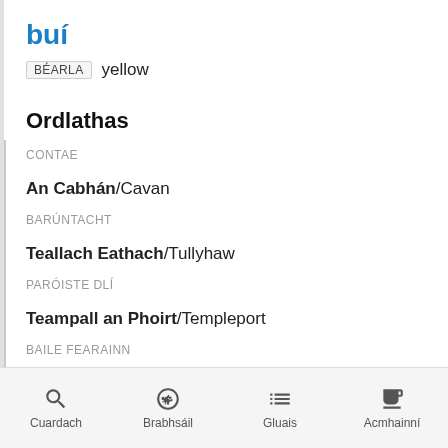buí
BÉARLA   yellow
Ordlathas
CONTAE
An Cabhán/Cavan
BARÚNTACHT
Teallach Eathach/Tullyhaw
PARÓISTE DLÍ
Teampall an Phoirt/Templeport
BAILE FEARAINN
An Bábhún Buí/Bawnboy
Cuardach   Brabhsáil   Gluais   Acmhainní